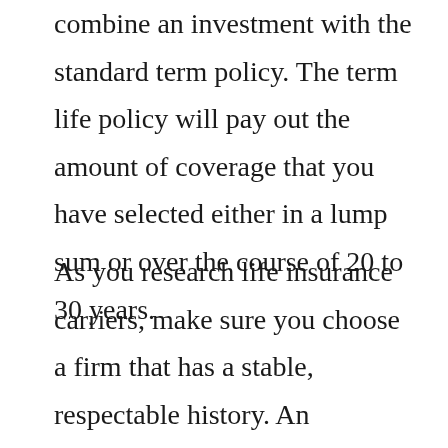combine an investment with the standard term policy. The term life policy will pay out the amount of coverage that you have selected either in a lump sum or over the course of 20 to 30 years.
As you research life insurance carriers, make sure you choose a firm that has a stable, respectable history. An inexpensive policy is worthless if the company cannot provide payment when necessary.